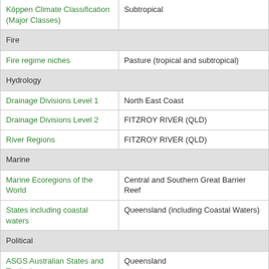| Attribute | Value |
| --- | --- |
| Köppen Climate Classification (Major Classes) | Subtropical |
| Fire |  |
| Fire regime niches | Pasture (tropical and subtropical) |
| Hydrology |  |
| Drainage Divisions Level 1 | North East Coast |
| Drainage Divisions Level 2 | FITZROY RIVER (QLD) |
| River Regions | FITZROY RIVER (QLD) |
| Marine |  |
| Marine Ecoregions of the World | Central and Southern Great Barrier Reef |
| States including coastal waters | Queensland (including Coastal Waters) |
| Political |  |
| ASGS Australian States and Territories | Queensland |